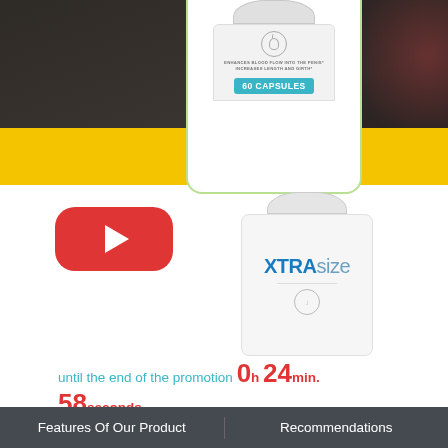[Figure (photo): Partial view of a supplement bottle showing '60 CAPSULES' label on teal badge, with text 'ENHANCES BLOOD FLOW INTO THE PENIS* INCREASES LENGTH AND GIRTH*', displayed on white card over dark blurred background with yellow band]
[Figure (photo): Red rounded rectangle YouTube-style play button icon]
[Figure (photo): XtraSize supplement bottle, white with blue XtraSize logo]
until the end of the promotion 0h 24min.
58seconds
XtraSize
Features Of Our Product    Recommendations